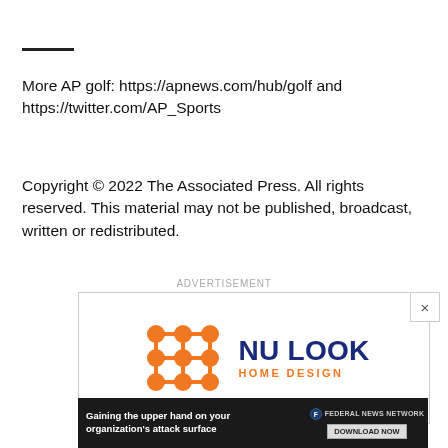More AP golf: https://apnews.com/hub/golf and https://twitter.com/AP_Sports
Copyright © 2022 The Associated Press. All rights reserved. This material may not be published, broadcast, written or redistributed.
ADVERTISEMENT
[Figure (logo): Nu Look Home Design advertisement with orange dot-network logo and navy blue text reading NU LOOK HOME DESIGN]